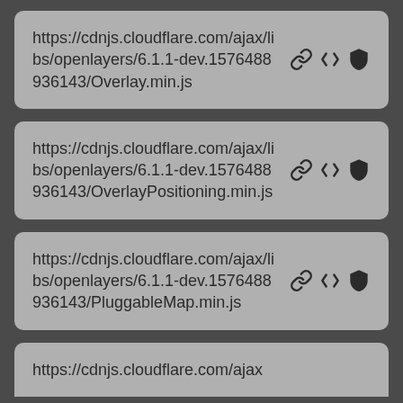https://cdnjs.cloudflare.com/ajax/libs/openlayers/6.1.1-dev.1576488936143/Overlay.min.js
https://cdnjs.cloudflare.com/ajax/libs/openlayers/6.1.1-dev.1576488936143/OverlayPositioning.min.js
https://cdnjs.cloudflare.com/ajax/libs/openlayers/6.1.1-dev.1576488936143/PluggableMap.min.js
https://cdnjs.cloudflare.com/ajax